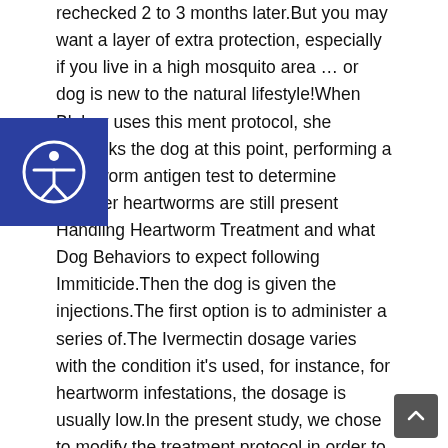rechecked 2 to 3 months later.But you may want a layer of extra protection, especially if you live in a high mosquito area … or dog is new to the natural lifestyle!When Blakey uses this ment protocol, she rechecks the dog at this point, performing a heartworm antigen test to determine whether heartworms are still present Handling Heartworm Treatment and what Dog Behaviors to expect following Immiticide.Then the dog is given the injections.The first option is to administer a series of.The Ivermectin dosage varies with the condition it's used, for instance, for heartworm infestations, the dosage is usually low.In the present study, we chose to modify the treatment protocol in order to evaluate if a more applicable approach (1 month of daily doxycycline and ivermectin at bi-weekly intervals) could lead to parasitological cure in naturally infected dogs.However, ivermectin dose in cats may sometimes need to be higher.Clinical trial that took place between May 31 and July 27, 2020, in which can i switch from ivermectin to immiticide heartworm treatment researchers administered a preventative
[Figure (other): Accessibility icon — circular figure with arms outstretched on a dark blue square background]